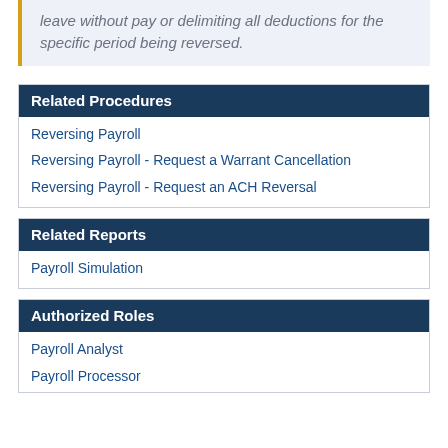leave without pay or delimiting all deductions for the specific period being reversed.
Related Procedures
Reversing Payroll
Reversing Payroll - Request a Warrant Cancellation
Reversing Payroll - Request an ACH Reversal
Related Reports
Payroll Simulation
Authorized Roles
Payroll Analyst
Payroll Processor